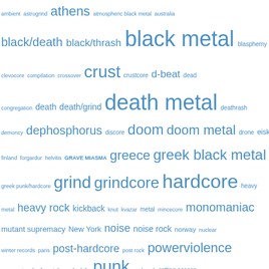[Figure (other): Word cloud of music genre and label tags in blue on white background. Words vary in size by frequency/importance. Tags include: ambient, astrogrind, athens (large), atmospheric black metal, australia, black/death, black/thrash, black metal (very large), blasphemy, clevocore, compilation, crossover, crust (large), crustcore, d-beat, dead, congregation, death, death/grind, death metal (very large), deathrash, demoncy, dephosphorus, discore, doom, doom metal, drone, eiskalt, finland, forgardur, helvitis, GRAVE MIASMA, greece, greek black metal, greek punk/hardcore, grind (large), grindcore (large), hardcore (very large), heavy metal, heavy rock, kickback, knut, kvazar, metal, mincecore, monomaniac (large), mutant supremacy, New York, noise, noise rock, norway, nuclear winter records, paris, post-hardcore (large), post rock, powerviolence (large), progressive death metal, psychedelic, punk (very large), punk rock, rotting season]